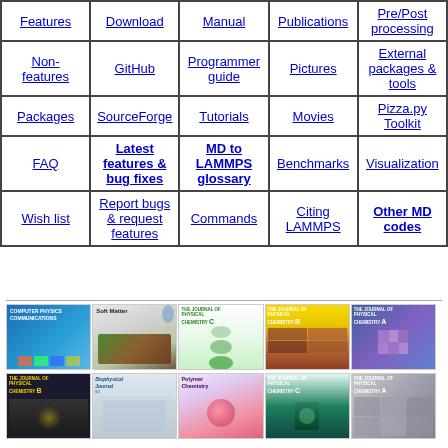| Features | Download | Manual | Publications | Pre/Post processing |
| --- | --- | --- | --- | --- |
| Non-features | GitHub | Programmer guide | Pictures | External packages & tools |
| Packages | SourceForge | Tutorials | Movies | Pizza.py Toolkit |
| FAQ | Latest features & bug fixes | MD to LAMMPS glossary | Benchmarks | Visualization |
| Wish list | Report bugs & request features | Commands | Citing LAMMPS | Other MD codes |
[Figure (photo): Grid of journal covers including Computer Physics Communications, Soft Matter, The Journal of Physical Chemistry C, B, A, and Biophysical Journal, Polymer Chemistry in two rows of five covers each.]